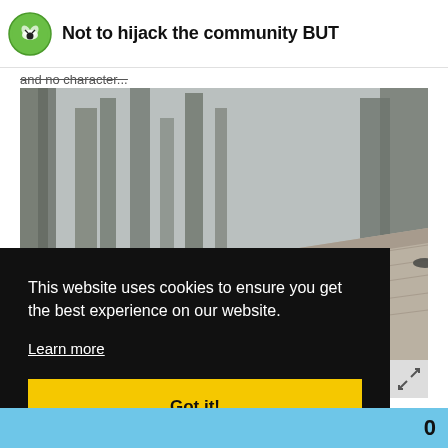Not to hijack the community BUT
and no character...
[Figure (photo): Outdoor scene with tall trees, smoky atmosphere, and a rooftop visible in the lower right. A bird (turkey or similar) is faintly visible near the roof edge.]
This website uses cookies to ensure you get the best experience on our website. Learn more  Got it!